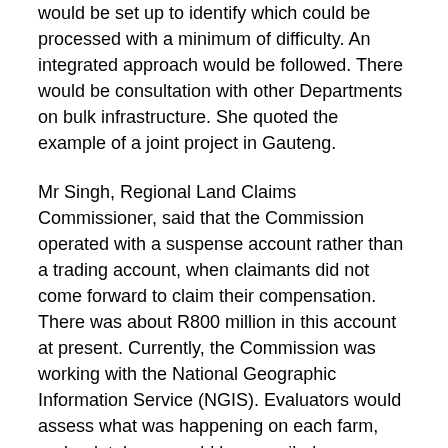would be set up to identify which could be processed with a minimum of difficulty. An integrated approach would be followed. There would be consultation with other Departments on bulk infrastructure. She quoted the example of a joint project in Gauteng.
Mr Singh, Regional Land Claims Commissioner, said that the Commission operated with a suspense account rather than a trading account, when claimants did not come forward to claim their compensation. There was about R800 million in this account at present. Currently, the Commission was working with the National Geographic Information Service (NGIS). Evaluators would assess what was happening on each farm, and a database would be compiled.
Mr Z Pityi, Regional Land Claims Commissioner, Eastern Cape (EC) explained that the logic behind the lodgments was that each district would have a site. This policy was being reviewed due to the chaotic situation in some areas. This was being done in conjunction with Department of Public Works. There was a different situation in the EC. People had been dispossessed in a different way in the province, which had resulted in communal land, when their own land had been taken and used for urban